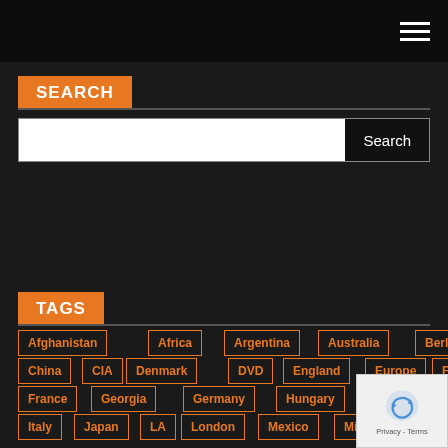SEARCH
Search
TAGS
Afghanistan
Africa
Argentina
Australia
Berlin
Canada
China
CIA
Denmark
DVD
England
Europe
FBI
France
Georgia
Germany
Hungary
India
Iraq
Ir
Italy
Japan
LA
London
Mexico
Miami
Morocco